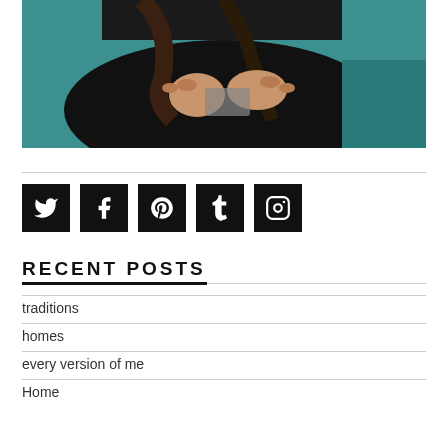[Figure (photo): Person in black top holding/knitting something, teal background, partial upper body shot]
[Figure (infographic): Row of 5 black square social media icon buttons: Twitter, Facebook, Pinterest, Tumblr, Instagram]
RECENT POSTS
traditions
homes
every version of me
Home